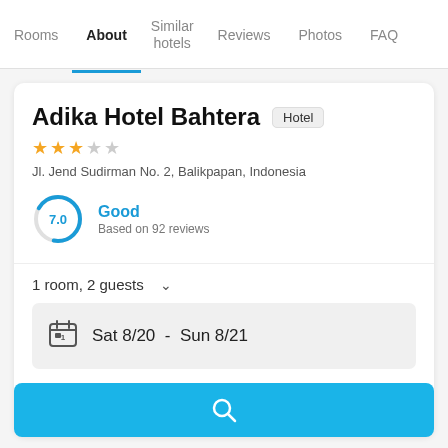Rooms | About | Similar hotels | Reviews | Photos | FAQ
Adika Hotel Bahtera
Hotel
★★★☆☆
Jl. Jend Sudirman No. 2, Balikpapan, Indonesia
7.0 Good - Based on 92 reviews
1 room, 2 guests
Sat 8/20 - Sun 8/21